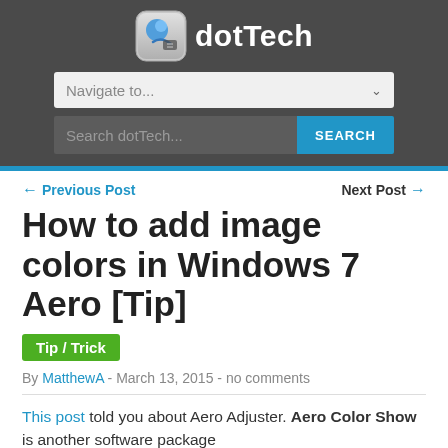[Figure (logo): dotTech website logo with icon and text]
Navigate to...
Search dotTech...  SEARCH
← Previous Post    Next Post →
How to add image colors in Windows 7 Aero [Tip]
Tip / Trick
By MatthewA - March 13, 2015 - no comments
This post told you about Aero Adjuster. Aero Color Show is another software package